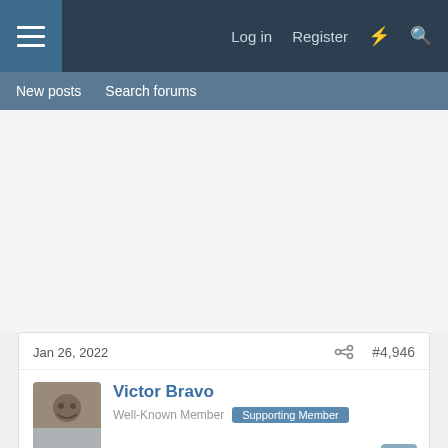Log in  Register
New posts  Search forums
Jan 26, 2022  #4,946
Victor Bravo
Well-Known Member  Supporting Member